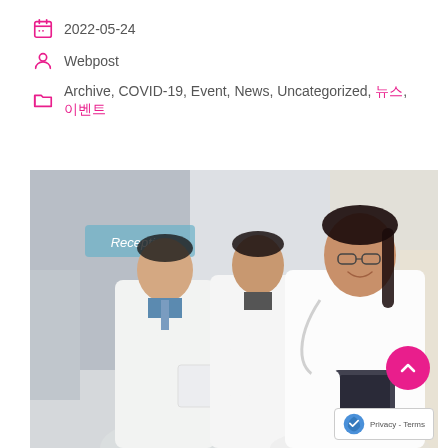📅 2022-05-24
👤 Webpost
🗂️ Archive, COVID-19, Event, News, Uncategorized, 이벤트, 뉴스
[Figure (photo): Three medical professionals in white lab coats standing in a hospital reception area. A smiling female doctor with glasses and stethoscope stands in the foreground right, two male doctors review documents in the background left. Reception sign visible behind them.]